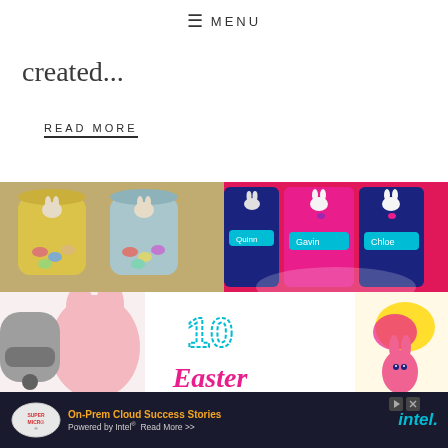≡ MENU
created...
READ MORE
[Figure (photo): Top row: two Easter jars with candy (yellow and blue jars with bunny cutouts on left), personalized Easter bags/cups with names Quinn, Gavin, Chloe (pink and navy, on right). Bottom row: crafting iron on left, large text '10 Easter' in teal and magenta on white background center, decorative Easter bunny figure on right.]
[Figure (photo): Advertisement banner: Supermicro logo on dark background, text 'On-Prem Cloud Success Stories Powered by Intel® Read More >>' in orange and white, Intel logo in teal on right.]